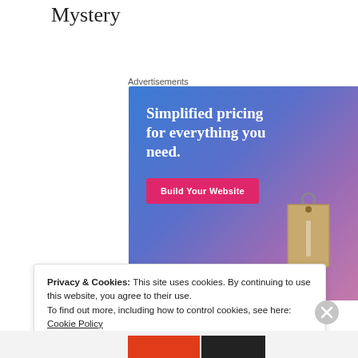Mystery
Advertisements
[Figure (illustration): Advertisement banner with blue-to-purple gradient background. Large white bold text reads 'Simplified pricing for everything you need.' A pink/red button labeled 'Build Your Website' appears below. A tan price tag graphic is in the lower right.]
Privacy & Cookies: This site uses cookies. By continuing to use this website, you agree to their use.
To find out more, including how to control cookies, see here: Cookie Policy
Close and accept